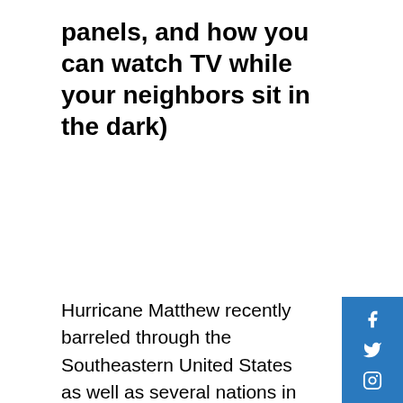panels, and how you can watch TV while your neighbors sit in the dark)
Hurricane Matthew recently barreled through the Southeastern United States as well as several nations in the Caribbean. It knocked out power, caused floods, and leveled buildings.